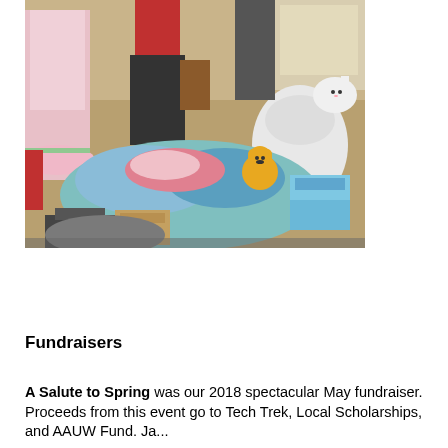[Figure (photo): Indoor scene showing a large pile of donated baby and children's items including clothing, diapers, stuffed animals (including a Winnie the Pooh toy and a white bunny), and bags. Several people are visible in the background standing in a room.]
Fundraisers
A Salute to Spring was our 2018 spectacular May fundraiser. Proceeds from this event go to Tech Trek, Local Scholarships, and AAUW Fund. Ja... A ll... and Ma... To An... in add li... the la... Th... h... T...